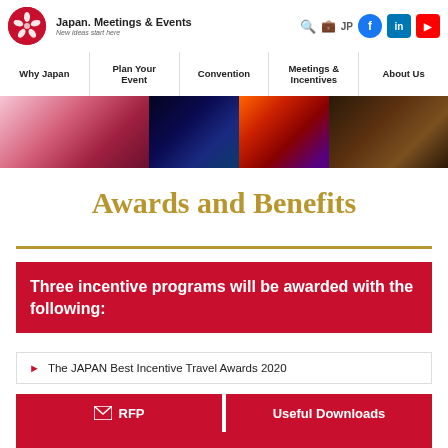Japan. Meetings & Events — New ideas start here
[Figure (screenshot): Website navigation bar with menu items: Why Japan, Plan Your Event, Convention, Meetings & Incentives, About Us]
[Figure (photo): Photo strip showing cherry blossoms, night scenery, colorful flowers, and an indoor hall]
Awards and Benefits
Three incentive programs will be awarded with the following:
The JAPAN Best Incentive Travel Awards 2020
RFP
Useful Downloads